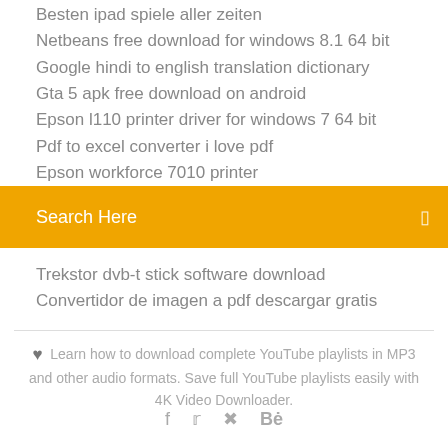Besten ipad spiele aller zeiten
Netbeans free download for windows 8.1 64 bit
Google hindi to english translation dictionary
Gta 5 apk free download on android
Epson l110 printer driver for windows 7 64 bit
Pdf to excel converter i love pdf
Epson workforce 7010 printer
Search Here
Trekstor dvb-t stick software download
Convertidor de imagen a pdf descargar gratis
Learn how to download complete YouTube playlists in MP3 and other audio formats. Save full YouTube playlists easily with 4K Video Downloader.